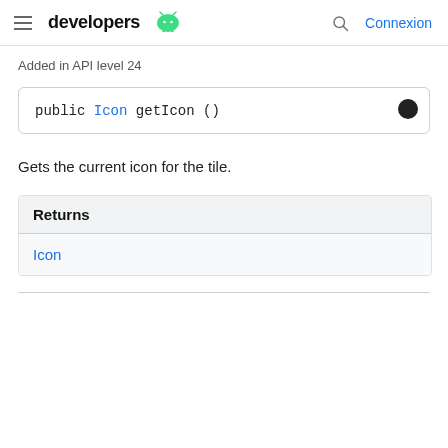developers [android logo] | [search icon] Connexion
Added in API level 24
public Icon getIcon ()
Gets the current icon for the tile.
| Returns |
| --- |
| Icon |